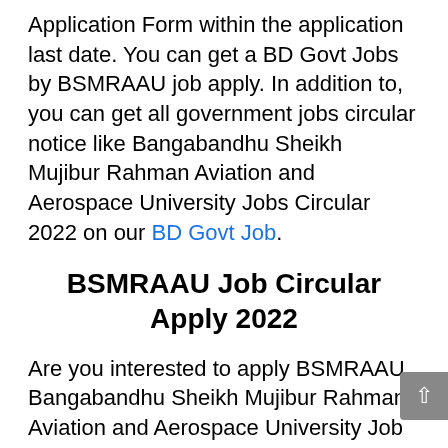Application Form within the application last date. You can get a BD Govt Jobs by BSMRAAU job apply. In addition to, you can get all government jobs circular notice like Bangabandhu Sheikh Mujibur Rahman Aviation and Aerospace University Jobs Circular 2022 on our BD Govt Job.
BSMRAAU Job Circular Apply 2022
Are you interested to apply BSMRAAU Bangabandhu Sheikh Mujibur Rahman Aviation and Aerospace University Job Circular 2022? You can easily BSMRAAU job apply 2022. For this you have to submit your Application by maintaining the rules of the recruitment advertisement. Please read the Bangabandhu Sheikh Mujibur Rahman